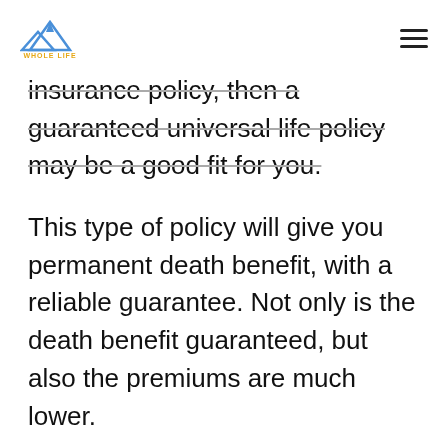WHOLE LIFE [logo] [hamburger menu]
insurance policy, then a guaranteed universal life policy may be a good fit for you.
This type of policy will give you permanent death benefit, with a reliable guarantee. Not only is the death benefit guaranteed, but also the premiums are much lower.
The way this policy works is that you can pick a specific age guarantee, and your plan will be guaranteed until that age. Most standard policies will have a